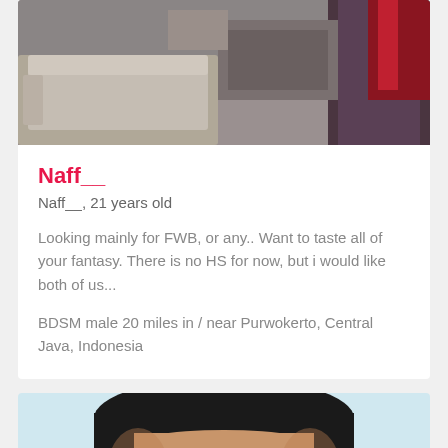[Figure (photo): Indoor room photo showing furniture (sofa/chair) and a person partially visible, decorative items in background]
Naff__
Naff__, 21 years old
Looking mainly for FWB, or any.. Want to taste all of your fantasy. There is no HS for now, but i would like both of us...
BDSM male 20 miles in / near Purwokerto, Central Java, Indonesia
[Figure (photo): Close-up photo of a young man's face with dark hair, top portion of face visible]